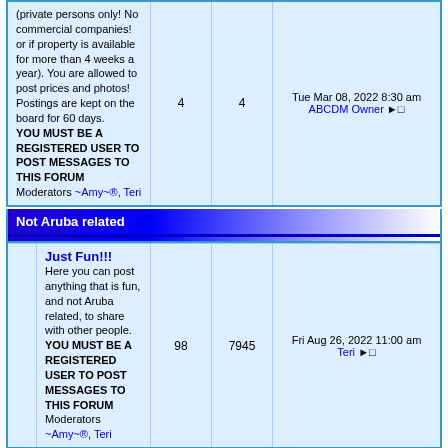| (private persons only! No commercial companies! or if property is available for more than 4 weeks a year). You are allowed to post prices and photos! Postings are kept on the board for 60 days. YOU MUST BE A REGISTERED USER TO POST MESSAGES TO THIS FORUM
Moderators ~Amy~®, Teri | 4 | 4 | Tue Mar 08, 2022 8:30 am ABCDM Owner → |
Not Aruba related
| Just Fun!!!
Here you can post anything that is fun, and not Aruba related, to share with other people. YOU MUST BE A REGISTERED USER TO POST MESSAGES TO THIS FORUM
Moderators ~Amy~®, Teri | 98 | 7945 | Fri Aug 26, 2022 11:00 am Teri → |
Mark all forums read        All times are GMT - 5 Hours
Who is Online
Our users have posted a total of 13074 articles
We have 1043 registered users
The newest registered user is Annettes

In total there are 27 users online :: 0 Registered, 0 Hidden and 27 Guests   [ Administrator ]   [ Moderator ]
Most users ever online was 899 on Wed May 19, 2021 7:04 am
Registered Users: None
This data is based on users active over the past five minutes